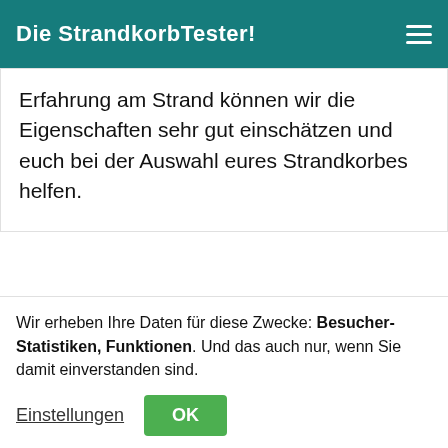Die StrandkorbTester!
Erfahrung am Strand können wir die Eigenschaften sehr gut einschätzen und euch bei der Auswahl eures Strandkorbes helfen.
649,00 €
inkl. Versand, inkl. Schutzhülle
Jetzt kaufen
Wir erheben Ihre Daten für diese Zwecke: Besucher-Statistiken, Funktionen. Und das auch nur, wenn Sie damit einverstanden sind.
Einstellungen
OK